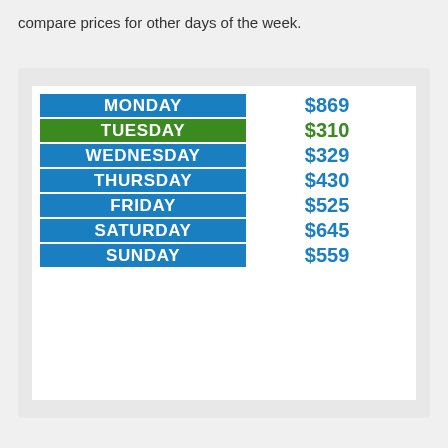compare prices for other days of the week.
| Day | Price |
| --- | --- |
| MONDAY | $869 |
| TUESDAY | $310 |
| WEDNESDAY | $329 |
| THURSDAY | $430 |
| FRIDAY | $525 |
| SATURDAY | $645 |
| SUNDAY | $559 |